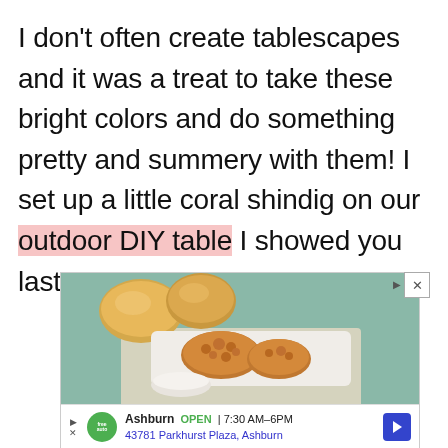I don't often create tablescapes and it was a treat to take these bright colors and do something pretty and summery with them! I set up a little coral shindig on our outdoor DIY table I showed you last summer.
[Figure (screenshot): Advertisement showing fried chicken and dinner rolls on a teal/green background, with a local business listing for 'Ashburn auto' showing OPEN 7:30AM-6PM at 43781 Parkhurst Plaza, Ashburn. Has ad controls (play, close X) and a blue navigation arrow.]